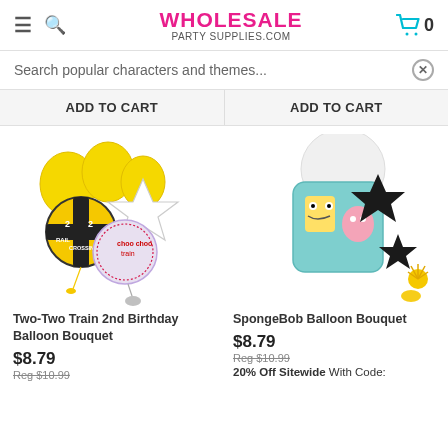WHOLESALE PARTY SUPPLIES.COM
Search popular characters and themes...
ADD TO CART  ADD TO CART
[Figure (photo): Two-Two Train 2nd Birthday Balloon Bouquet product image with yellow and white balloons]
Two-Two Train 2nd Birthday Balloon Bouquet
$8.79
Reg $10.99
[Figure (photo): SpongeBob Balloon Bouquet product image with SpongeBob characters and black star balloons]
SpongeBob Balloon Bouquet
$8.79
Reg $10.99
20% Off Sitewide With Code: